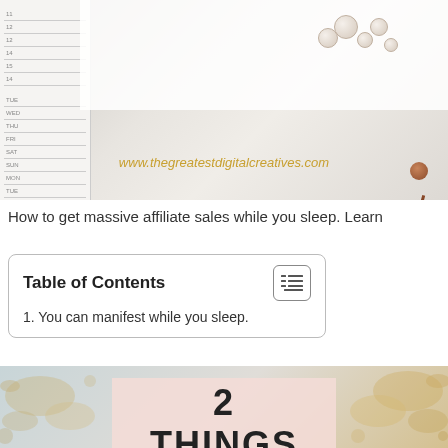[Figure (photo): Top banner image showing a planner/calendar with push pins scattered on a white background. URL www.thegreatestdigitalcreatives.com overlaid in gold italic text.]
How to get massive affiliate sales while you sleep. Learn
| Table of Contents |
| --- |
| 1. You can manifest while you sleep. |
You can manifest while you sleep.
[Figure (photo): Bottom banner image with gold splatter texture on light blue/cream background and a pink overlay box with bold text '2 THINGS']